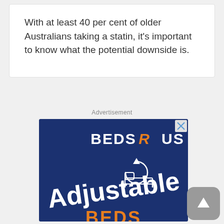With at least 40 per cent of older Australians taking a statin, it's important to know what the potential downside is.
Advertisement
[Figure (illustration): Beds R Us advertisement banner on dark navy blue background. Shows 'BEDS R US' logo with orange italic R, 'Adjustable' text in white at an angle, a bed icon with circular arrow, and partial orange text at bottom. Has a close (X) button in top right corner.]